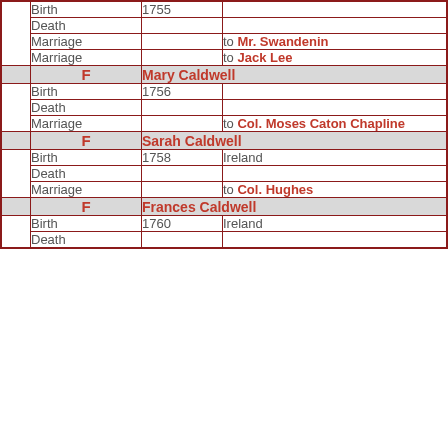|  | Event | Year | Detail |
| --- | --- | --- | --- |
|  | Birth | 1755 |  |
|  | Death |  |  |
|  | Marriage |  | to Mr. Swandenin |
|  | Marriage |  | to Jack Lee |
| F | Mary Caldwell |  |  |
|  | Birth | 1756 |  |
|  | Death |  |  |
|  | Marriage |  | to Col. Moses Caton Chapline |
| F | Sarah Caldwell |  |  |
|  | Birth | 1758 | Ireland |
|  | Death |  |  |
|  | Marriage |  | to Col. Hughes |
| F | Frances Caldwell |  |  |
|  | Birth | 1760 | Ireland |
|  | Death |  |  |